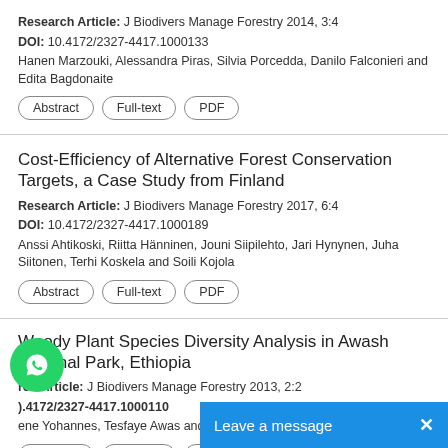Research Article: J Biodivers Manage Forestry 2014, 3:4
DOI: 10.4172/2327-4417.1000133
Hanen Marzouki, Alessandra Piras, Silvia Porcedda, Danilo Falconieri and Edita Bagdonaite
Abstract | Full-text | PDF
Cost-Efficiency of Alternative Forest Conservation Targets, a Case Study from Finland
Research Article: J Biodivers Manage Forestry 2017, 6:4
DOI: 10.4172/2327-4417.1000189
Anssi Ahtikoski, Riitta Hänninen, Jouni Siipilehto, Jari Hynynen, Juha Siitonen, Terhi Koskela and Soili Kojola
Abstract | Full-text | PDF
Woody Plant Species Diversity Analysis in Awash National Park, Ethiopia
Research Article: J Biodivers Manage Forestry 2013, 2:2
DOI: 10.4172/2327-4417.1000110
Gene Yohannes, Tesfaye Awas and Sebsebe Demissew
Abstract | Full-text | PDF